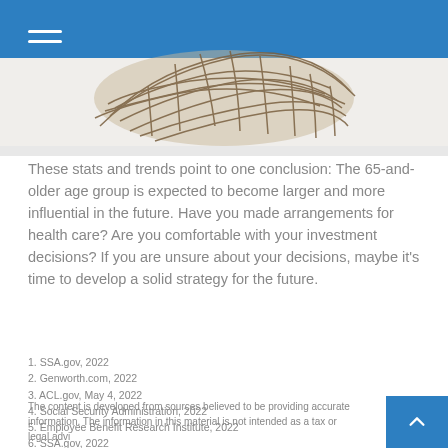[Figure (photo): Partial view of a bird's nest, photographed from above on a white background, showing the woven twig structure.]
These stats and trends point to one conclusion: The 65-and-older age group is expected to become larger and more influential in the future. Have you made arrangements for health care? Are you comfortable with your investment decisions? If you are unsure about your decisions, maybe it's time to develop a solid strategy for the future.
1. SSA.gov, 2022
2. Genworth.com, 2022
3. ACL.gov, May 4, 2022
4. Social Security Administration, 2022
5. Employee Benefit Research Institute, 2022
6. SSA.gov, 2022
7. Statista.com, August 3, 2022
8. BLS.gov, 2022
The content is developed from sources believed to be providing accurate information. The information in this material is not intended as a tax or legal advice.